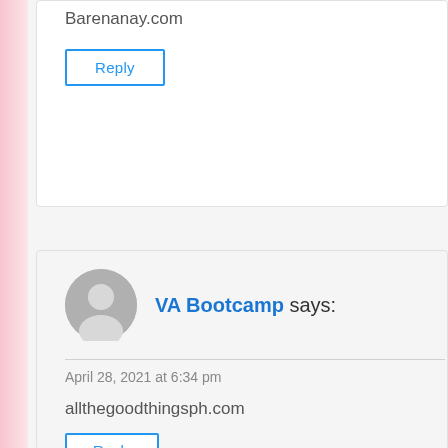Barenanay.com
Reply
VA Bootcamp says:
April 28, 2021 at 6:34 pm
allthegoodthingsph.com
Reply